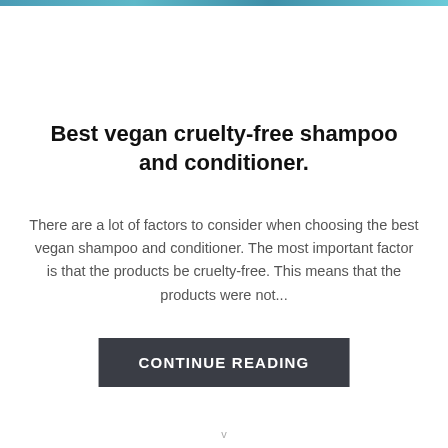[Figure (photo): Partial image strip at top of page showing foliage or nature scene in teal/blue-green tones]
Best vegan cruelty-free shampoo and conditioner.
There are a lot of factors to consider when choosing the best vegan shampoo and conditioner. The most important factor is that the products be cruelty-free. This means that the products were not...
CONTINUE READING
v